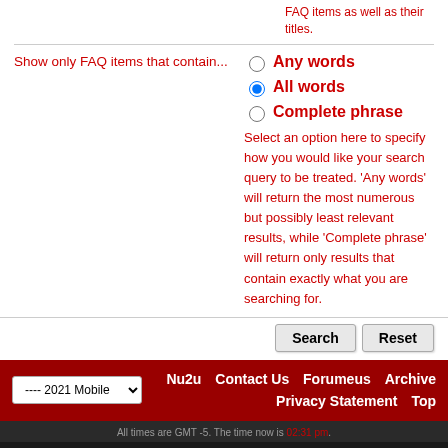FAQ items as well as their titles.
Show only FAQ items that contain...
Any words
All words
Complete phrase
Select an option here to specify how you would like your search query to be treated. 'Any words' will return the most numerous but possibly least relevant results, while 'Complete phrase' will return only results that contain exactly what you are searching for.
Nu2u  Contact Us  Forumeus  Archive  Privacy Statement  Top
All times are GMT -5. The time now is 02:31 pm.
© Copyright 2021 Forumeus.com